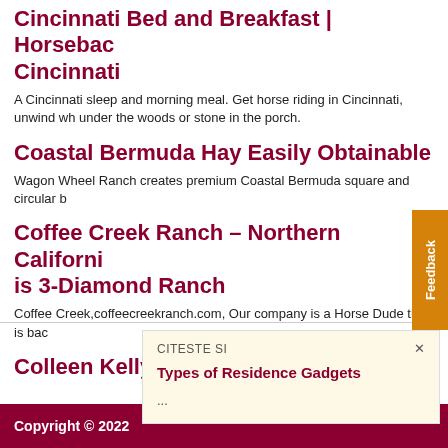Cincinnati Bed and Breakfast | Horseback Cincinnati
A Cincinnati sleep and morning meal. Get horse riding in Cincinnati, unwind wh under the woods or stone in the porch.
Coastal Bermuda Hay Easily Obtainable
Wagon Wheel Ranch creates premium Coastal Bermuda square and circular b
Coffee Creek Ranch – Northern Californi is 3-Diamond Ranch
Coffee Creek,coffeecreekranch.com, Our company is a Horse Dude that is bac
Colleen Kelly Rider Biomechanics
[Figure (other): Feedback tab on right side, orange vertical tab]
CITESTE SI
Types of Residence Gadgets
...
Copyright © 2022